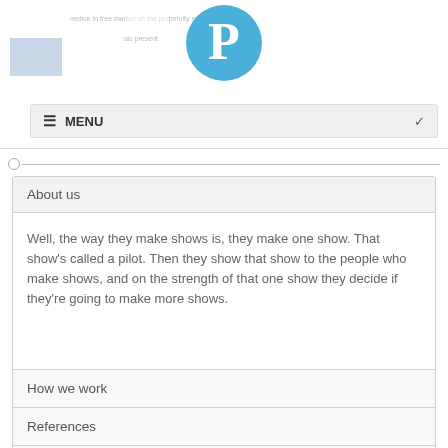[Figure (logo): Blue circle with white letter P logo]
MENU
About us
Well, the way they make shows is, they make one show. That show's called a pilot. Then they show that show to the people who make shows, and on the strength of that one show they decide if they're going to make more shows.
How we work
References
Contact us